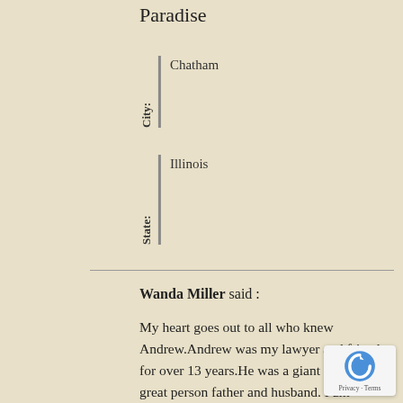Paradise
City: Chatham
State: Illinois
Wanda Miller said :
My heart goes out to all who knew Andrew.Andrew was my lawyer and friend for over 13 years.He was a giant and such a great person father and husband. I am devastated. I pray that the Lord will comfort this family in this difficult time.Andrew will be truly missed..